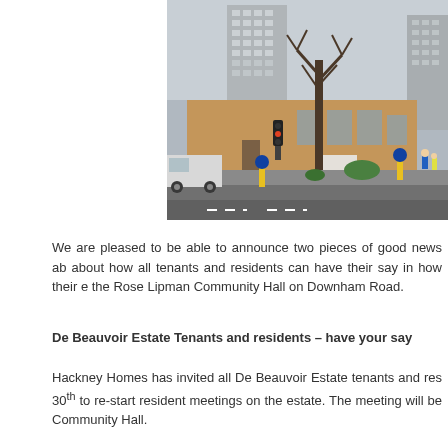[Figure (photo): Street-level photograph of a brick community hall building with tall residential tower blocks behind it, a bare tree in the foreground, cars on the road, and traffic lights visible.]
We are pleased to be able to announce two pieces of good news about how all tenants and residents can have their say in how their estate is run at the Rose Lipman Community Hall on Downham Road.
De Beauvoir Estate Tenants and residents – have your say
Hackney Homes has invited all De Beauvoir Estate tenants and residents on the 30th to re-start resident meetings on the estate. The meeting will be held at Community Hall.